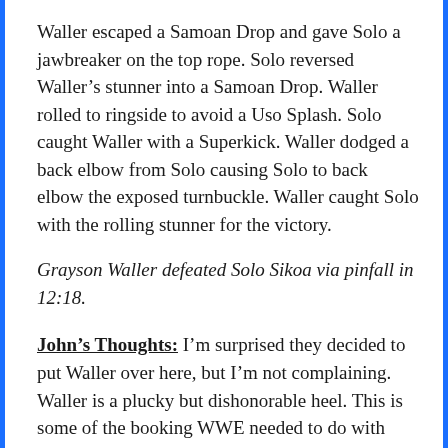Waller escaped a Samoan Drop and gave Solo a jawbreaker on the top rope. Solo reversed Waller's stunner into a Samoan Drop. Waller rolled to ringside to avoid a Uso Splash. Solo caught Waller with a Superkick. Waller dodged a back elbow from Solo causing Solo to back elbow the exposed turnbuckle. Waller caught Solo with the rolling stunner for the victory.
Grayson Waller defeated Solo Sikoa via pinfall in 12:18.
John's Thoughts: I'm surprised they decided to put Waller over here, but I'm not complaining. Waller is a plucky but dishonorable heel. This is some of the booking WWE needed to do with Miz throughout his run. Seriously, I like the